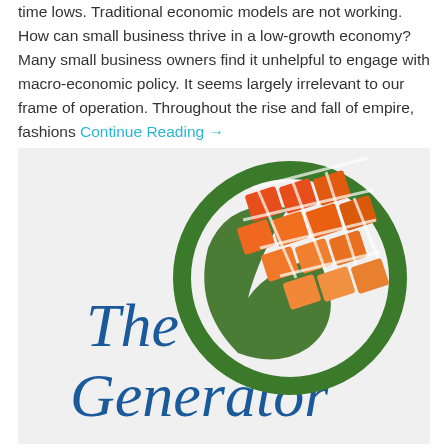time lows. Traditional economic models are not working. How can small business thrive in a low-growth economy? Many small business owners find it unhelpful to engage with macro-economic policy. It seems largely irrelevant to our frame of operation. Throughout the rise and fall of empire, fashions Continue Reading →
[Figure (logo): The Generator logo: a circular green leaf/swoosh design enclosing an orange grid of solar panels, with 'The Generator' text in dark blue below and to the left.]